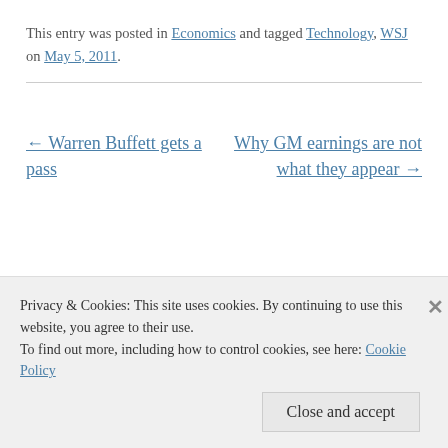This entry was posted in Economics and tagged Technology, WSJ on May 5, 2011.
← Warren Buffett gets a pass
Why GM earnings are not what they appear →
Privacy & Cookies: This site uses cookies. By continuing to use this website, you agree to their use. To find out more, including how to control cookies, see here: Cookie Policy
Close and accept